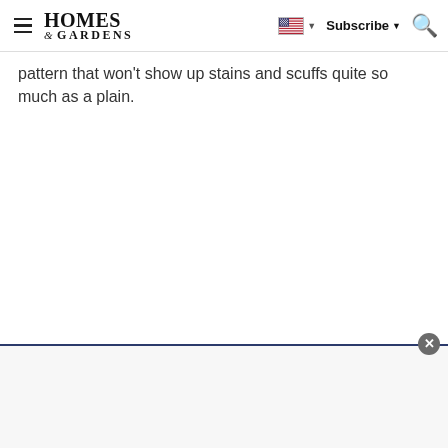Homes & Gardens — Subscribe
pattern that won't show up stains and scuffs quite so much as a plain.
[Figure (other): Advertisement banner at the bottom of the page with a close (X) button in the top-right corner]